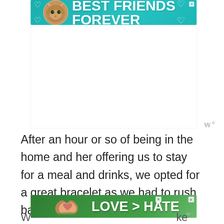[Figure (illustration): Advertisement banner with teal background showing a cat and text 'BEST FRIENDS FOREVER' with heart symbols and a close button]
[Figure (illustration): White blank advertisement space area with Wordmark logo (W°) in lower right corner]
After an hour or so of being in the home and her offering us to stay for a meal and drinks, we opted for a great bracelet as we had to rush back to the cruise port.
[Figure (illustration): Advertisement banner with green background showing hands forming a heart shape and text 'LOVE > HATE' with close buttons and W° watermark. Partially visible at bottom of page.]